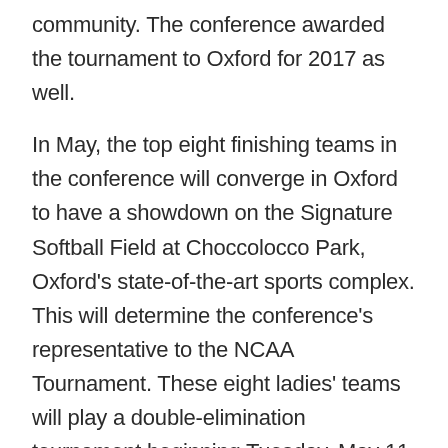community. The conference awarded the tournament to Oxford for 2017 as well.
In May, the top eight finishing teams in the conference will converge in Oxford to have a showdown on the Signature Softball Field at Choccolocco Park, Oxford's state-of-the-art sports complex. This will determine the conference's representative to the NCAA Tournament. These eight ladies' teams will play a double-elimination tournament beginning Tuesday, May 11 (with four games beginning at 10:00 a.m.), and ending on Saturday, May 14 with the championship game at 12:30 p.m.